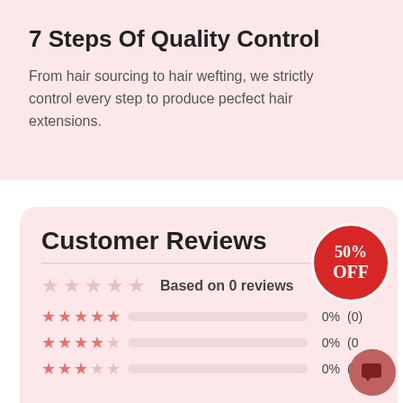7 Steps Of Quality Control
From hair sourcing to hair wefting, we strictly control every step to produce pecfect hair extensions.
Customer Reviews
Based on 0 reviews
0%  (0)
0%  (0)
0%  (0)
[Figure (infographic): Red circular badge with white border showing '50% OFF' text]